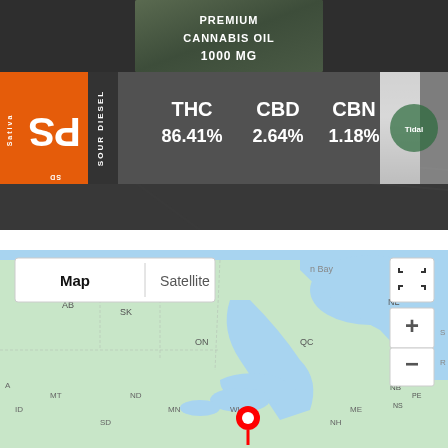[Figure (photo): Photo of cannabis oil product packaging labeled 'PREMIUM CANNABIS OIL 1000 MG', showing a label strip with orange PS (Sativa Sour Diesel) logo, and cannabinoid content: THC 86.41%, CBD 2.64%, CBN 1.18%]
[Figure (screenshot): Google Maps screenshot showing Canada and northern United States, with a red location pin dropped near the Great Lakes / Midwest region. Map toggle buttons (Map / Satellite) visible at top left, zoom controls at right, fullscreen button at top right.]